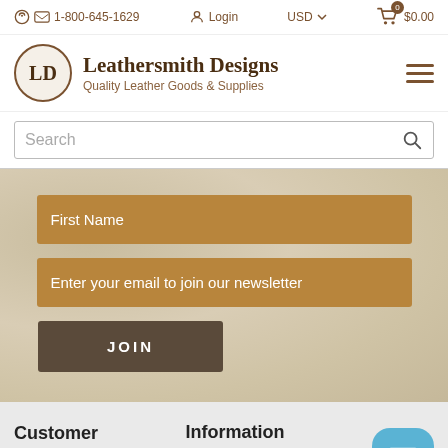1-800-645-1629 | Login | USD | $0.00
Leathersmith Designs — Quality Leather Goods & Supplies
Search
First Name
Enter your email to join our newsletter
JOIN
Customer Service
Information
About Us